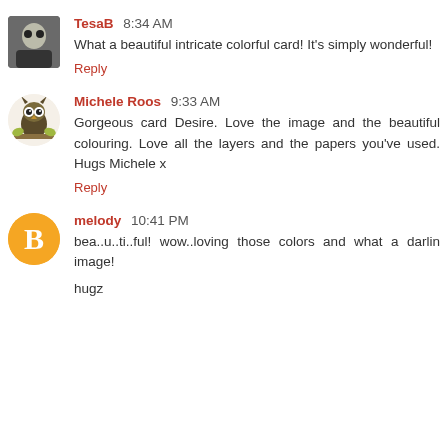TesaB 8:34 AM
What a beautiful intricate colorful card! It's simply wonderful!
Reply
Michele Roos 9:33 AM
Gorgeous card Desire. Love the image and the beautiful colouring. Love all the layers and the papers you've used. Hugs Michele x
Reply
melody 10:41 PM
bea..u..ti..ful! wow..loving those colors and what a darlin image!
hugz